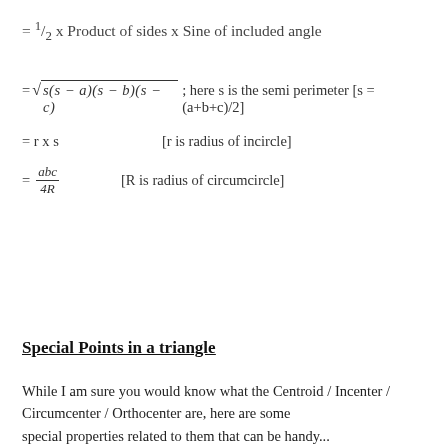Special Points in a triangle
While I am sure you would know what the Centroid / Incenter / Circumcenter / Orthocenter are, here are some special properties related to them that can be handy...